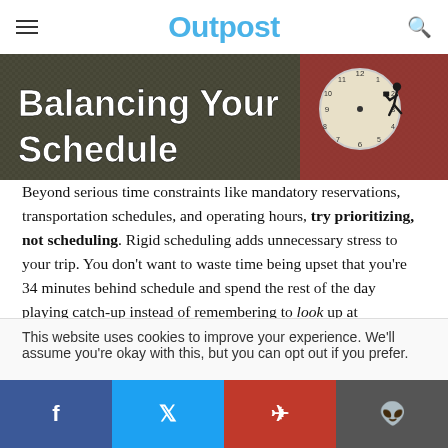Outpost
[Figure (photo): Hero image for article 'Balancing Your Schedule' showing text overlay on a background with a clock and a running businessman silhouette]
Beyond serious time constraints like mandatory reservations, transportation schedules, and operating hours, try prioritizing, not scheduling. Rigid scheduling adds unnecessary stress to your trip. You don't want to waste time being upset that you're 34 minutes behind schedule and spend the rest of the day playing catch-up instead of remembering to look up at everything around you.
This website uses cookies to improve your experience. We'll assume you're okay with this, but you can opt out if you prefer.